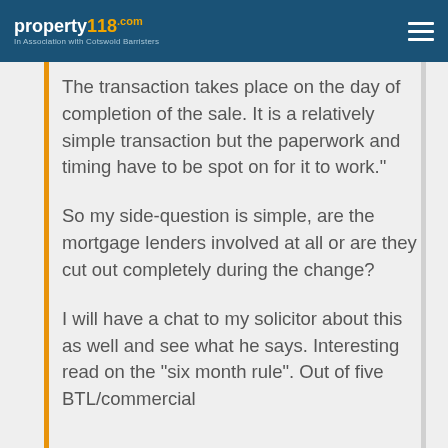property118.com — In Association with Cotswold Barristers
The transaction takes place on the day of completion of the sale. It is a relatively simple transaction but the paperwork and timing have to be spot on for it to work."
So my side-question is simple, are the mortgage lenders involved at all or are they cut out completely during the change?
I will have a chat to my solicitor about this as well and see what he says. Interesting read on the "six month rule". Out of five BTL/commercial lenders all we have to say on the...